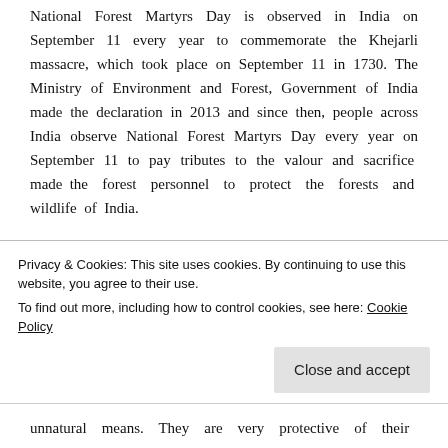National Forest Martyrs Day is observed in India on September 11 every year to commemorate the Khejarli massacre, which took place on September 11 in 1730. The Ministry of Environment and Forest, Government of India made the declaration in 2013 and since then, people across India observe National Forest Martyrs Day every year on September 11 to pay tributes to the valour and sacrifice made the forest personnel to protect the forests and wildlife of India.
THE KHEJARLI MASSACRE
There is a legend about a Bishnoi woman, Amrita Devi, who died trying to protect the trees that surrounded her village. The story recounts a time when the local Maharaja's tree cutters arrived to cut the villager's trees for wood for his new
Privacy & Cookies: This site uses cookies. By continuing to use this website, you agree to their use.
To find out more, including how to control cookies, see here: Cookie Policy
unnatural means. They are very protective of their